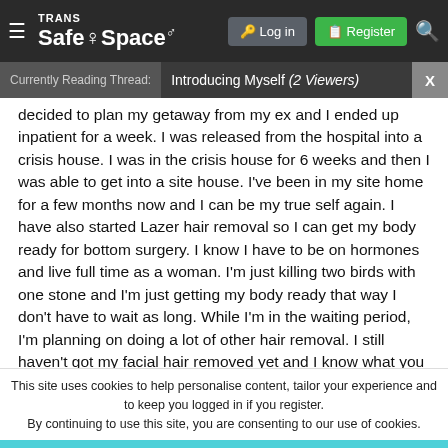[Figure (screenshot): Trans Safe Space website navigation bar with logo, hamburger menu, Log in and Register buttons, and search icon]
Currently Reading Thread: Introducing Myself (2 Viewers)
decided to plan my getaway from my ex and I ended up inpatient for a week. I was released from the hospital into a crisis house. I was in the crisis house for 6 weeks and then I was able to get into a site house. I've been in my site home for a few months now and I can be my true self again. I have also started Lazer hair removal so I can get my body ready for bottom surgery. I know I have to be on hormones and live full time as a woman. I'm just killing two birds with one stone and I'm just getting my body ready that way I don't have to wait as long. While I'm in the waiting period, I'm planning on doing a lot of other hair removal. I still haven't got my facial hair removed yet and I know what you are probably thinking. I
This site uses cookies to help personalise content, tailor your experience and to keep you logged in if you register.
By continuing to use this site, you are consenting to our use of cookies.
Accept
Learn More...